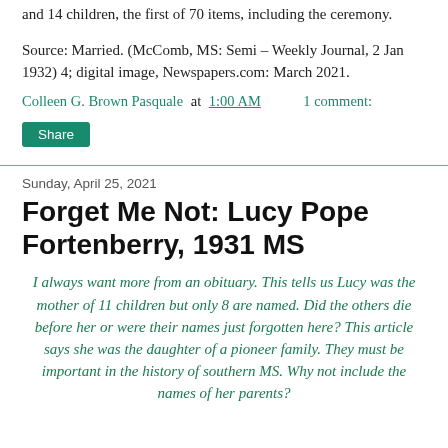and 14 children, the first of 70 items, including the ceremony.
Source: Married. (McComb, MS: Semi – Weekly Journal, 2 Jan 1932) 4; digital image, Newspapers.com: March 2021.
Colleen G. Brown Pasquale at 1:00 AM    1 comment:
Share
Sunday, April 25, 2021
Forget Me Not: Lucy Pope Fortenberry, 1931 MS
I always want more from an obituary. This tells us Lucy was the mother of 11 children but only 8 are named. Did the others die before her or were their names just forgotten here? This article says she was the daughter of a pioneer family. They must be important in the history of southern MS. Why not include the names of her parents?